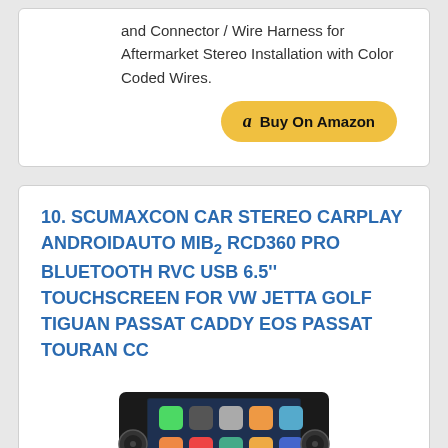and Connector / Wire Harness for Aftermarket Stereo Installation with Color Coded Wires.
[Figure (other): Buy On Amazon button with Amazon logo]
10. SCUMAXCON CAR STEREO CARPLAY ANDROIDAUTO MIB2 RCD360 PRO BLUETOOTH RVC USB 6.5'' TOUCHSCREEN FOR VW JETTA GOLF TIGUAN PASSAT CADDY EOS PASSAT TOURAN CC
[Figure (photo): Car stereo unit with touchscreen showing CarPlay interface, knobs and buttons on sides]